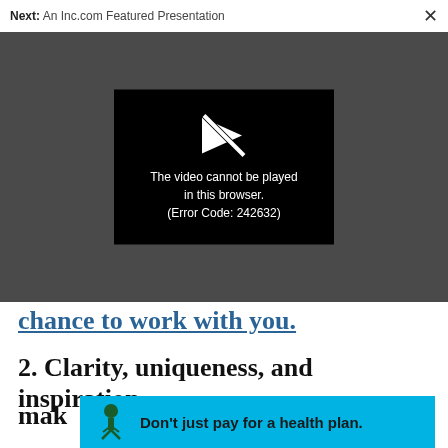Next: An Inc.com Featured Presentation
[Figure (screenshot): Video player overlay on dark gray background showing a black error box with a broken/slashed play icon and text: 'The video cannot be played in this browser. (Error Code: 242632)']
chance to work with you.
2. Clarity, uniqueness, and inspiration mak
[Figure (infographic): Blue advertisement banner at bottom reading: Don't just pay for a health plan. with a tree/person logo on the left.]